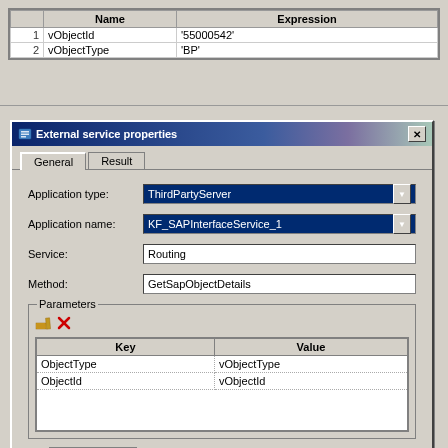[Figure (screenshot): Top portion of a variables/parameters table showing columns 'Name' and 'Expression' with rows: 1=vObjectId '55000542', 2=vObjectType 'BP']
[Figure (screenshot): External service properties dialog window with General and Result tabs. Fields: Application type (ThirdPartyServer dropdown), Application name (KF_SAPInterfaceService_1 dropdown), Service (Routing textbox), Method (GetSapObjectDetails textbox). Parameters group with Key/Value table: ObjectType=vObjectType, ObjectId=vObjectId. Default timeout checkbox at bottom.]